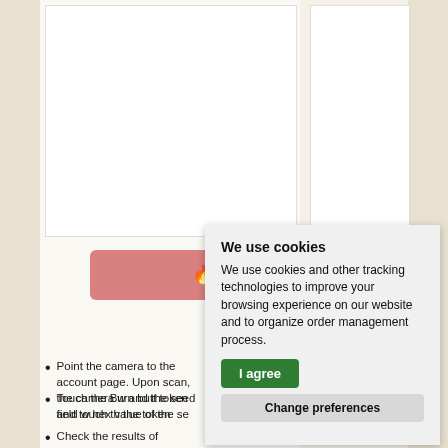[Figure (screenshot): A UI showing an input field labeled 'base32 entry' and a pink Burn button with fire emoji]
Point the camera to the account page. Upon scan, the camera will and the seed field will hex value of the seed
Touch the Burn button token and touch the the token
Check the results of
We use cookies
We use cookies and other tracking technologies to improve your browsing experience on our website and to organize order management process.
I agree
Change preferences